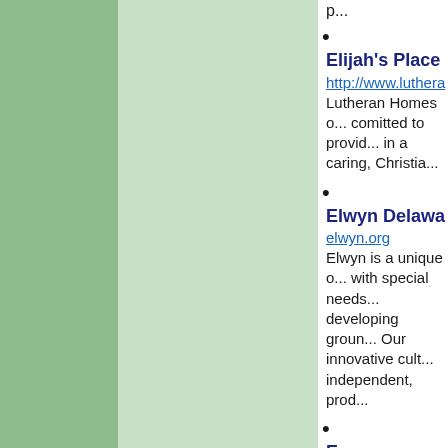Elijah's Place
http://www.luthera...
Lutheran Homes c... comitted to provid... in a caring, Christia...
Elwyn Delawa...
elwyn.org
Elwyn is a unique o... with special needs... developing groun... Our innovative cult... independent, prod...
Evergreen Retir... Memory Care
http://www.seniorh...